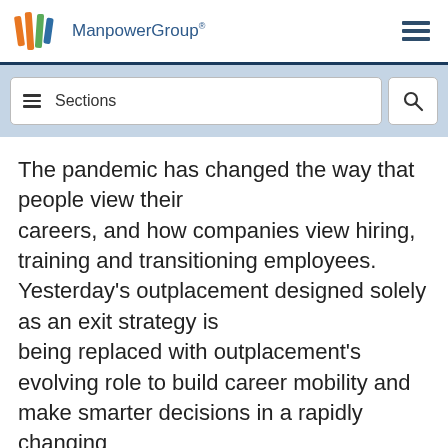ManpowerGroup
[Figure (screenshot): Navigation bar with Sections menu and search icon, over a light blue background banner]
The pandemic has changed the way that people view their careers, and how companies view hiring, training and transitioning employees. Yesterday's outplacement designed solely as an exit strategy is being replaced with outplacement's evolving role to build career mobility and make smarter decisions in a rapidly changing